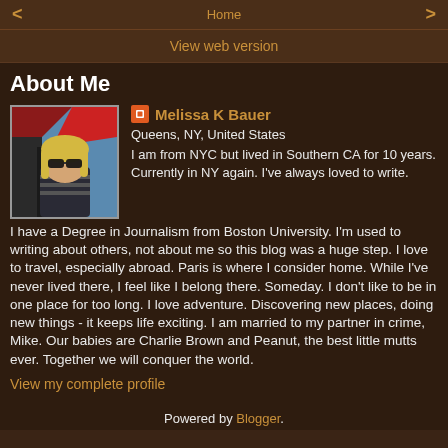< Home >
View web version
About Me
[Figure (photo): Profile photo of Melissa K Bauer - woman with blonde hair wearing sunglasses]
Melissa K Bauer
Queens, NY, United States
I am from NYC but lived in Southern CA for 10 years. Currently in NY again. I've always loved to write. I have a Degree in Journalism from Boston University. I'm used to writing about others, not about me so this blog was a huge step. I love to travel, especially abroad. Paris is where I consider home. While I've never lived there, I feel like I belong there. Someday. I don't like to be in one place for too long. I love adventure. Discovering new places, doing new things - it keeps life exciting. I am married to my partner in crime, Mike. Our babies are Charlie Brown and Peanut, the best little mutts ever. Together we will conquer the world.
View my complete profile
Powered by Blogger.